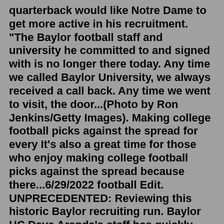quarterback would like Notre Dame to get more active in his recruitment. "The Baylor football staff and university he committed to and signed with is no longer there today. Any time we called Baylor University, we always received a call back. Any time we went to visit, the door...(Photo by Ron Jenkins/Getty Images). Making college football picks against the spread for every It's also a great time for those who enjoy making college football picks against the spread because there...6/29/2022 football Edit. UNPRECEDENTED: Reviewing this historic Baylor recruiting run. Baylor HC Dave Aranda's staff has quickly built this 2023 class in June. (Baylor SID) Kevin Lonnquist • SicEmSports. Publisher. @sicemsports. Putting context to what Baylor has done on the trail and other recruiting notables.Story LinkThe official 2022 Football schedule for the Washington State University CougarsCommit date. Jalen Pitre S. "2017 Baylor Football Commits". Scout.com. Retrieved February 7, 2017.Baylor football has been hosting in-person camps over the